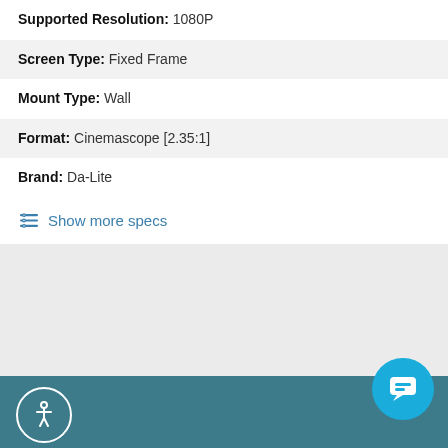Supported Resolution: 1080P
Screen Type: Fixed Frame
Mount Type: Wall
Format: Cinemascope [2.35:1]
Brand: Da-Lite
Show more specs
[Figure (screenshot): Grey empty section / content area placeholder]
[Figure (infographic): Teal toolbar with accessibility icon (person in circle) on left and circular chat bubble button on right]
[Figure (infographic): Bottom action bar with phone call button (dark teal) and ADD TO CART button (orange-red)]